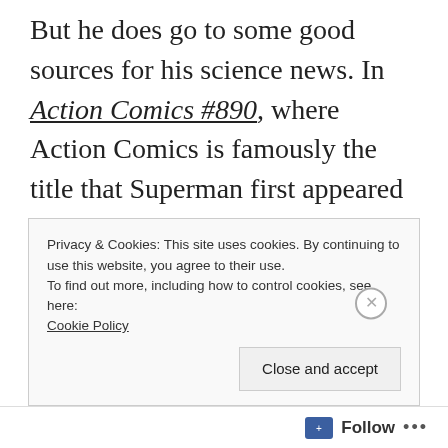But he does go to some good sources for his science news. In Action Comics #890, where Action Comics is famously the title that Superman first appeared in, but which Lex Luthor has recently taken over in what could be considered a metatextual response to his failure to conquer either Superman or the Earth, we have the following scene:
Privacy & Cookies: This site uses cookies. By continuing to use this website, you agree to their use.
To find out more, including how to control cookies, see here:
Cookie Policy

Close and accept